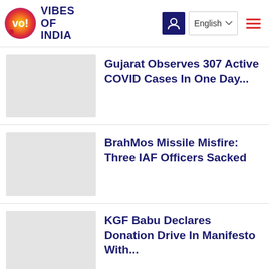VIBES OF INDIA — English navigation header
Gujarat Observes 307 Active COVID Cases In One Day...
BrahMos Missile Misfire: Three IAF Officers Sacked
KGF Babu Declares Donation Drive In Manifesto With...